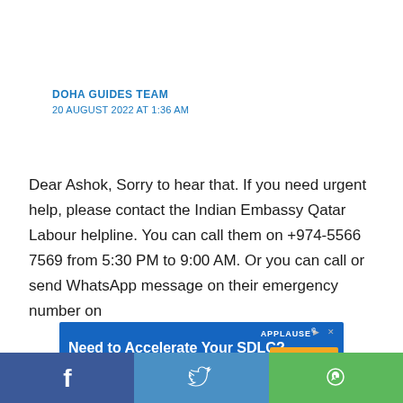DOHA GUIDES TEAM
20 AUGUST 2022 AT 1:36 AM
Dear Ashok, Sorry to hear that. If you need urgent help, please contact the Indian Embassy Qatar Labour helpline. You can call them on +974-5566 7569 from 5:30 PM to 9:00 AM. Or you can call or send WhatsApp message on their emergency number on
[Figure (other): Advertisement banner: Need to Accelerate Your SDLC? See why Agile testing is top of mind for development teams. Get The Guide. APPLAUSE branding.]
[Figure (other): Social sharing bar with Facebook, Twitter, and WhatsApp icons]